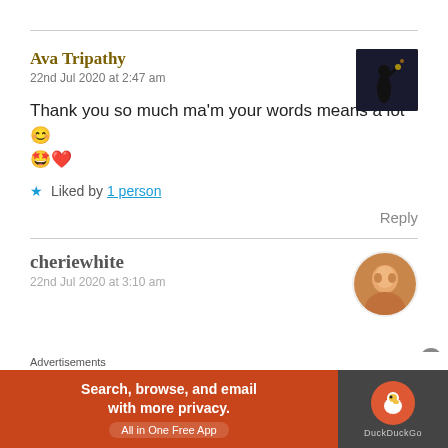Ava Tripathy
22nd Jul 2020 at 2:47 am
Thank you so much ma'm your words means a lot😊
🤩❤️
★ Liked by 1 person
Reply
cheriewhite
22nd Jul 2020 at 3:10 am
Advertisements
[Figure (screenshot): DuckDuckGo advertisement banner: orange left panel with text 'Search, browse, and email with more privacy. All in One Free App' and dark right panel with DuckDuckGo logo and brand name.]